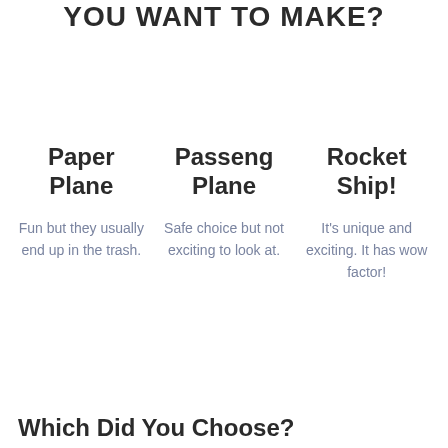YOU WANT TO MAKE?
Paper Plane
Fun but they usually end up in the trash.
Passeng Plane
Safe choice but not exciting to look at.
Rocket Ship!
It’s unique and exciting. It has wow factor!
Which Did You Choose?